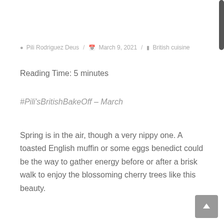Pili Rodriguez Deus / March 9, 2021 / British cuisine
Reading Time: 5 minutes
#Pili'sBritishBakeOff – March
Spring is in the air, though a very nippy one. A toasted English muffin or some eggs benedict could be the way to gather energy before or after a brisk walk to enjoy the blossoming cherry trees like this beauty.